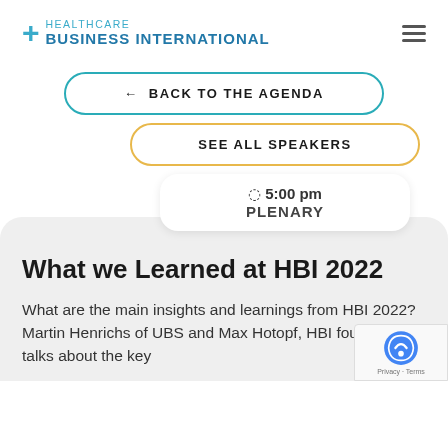[Figure (logo): Healthcare Business International logo with teal plus sign and blue bold text]
← BACK TO THE AGENDA
SEE ALL SPEAKERS
5:00 pm PLENARY
What we Learned at HBI 2022
What are the main insights and learnings from HBI 2022?  Martin Henrichs of UBS and Max Hotopf, HBI founder, talks about the key